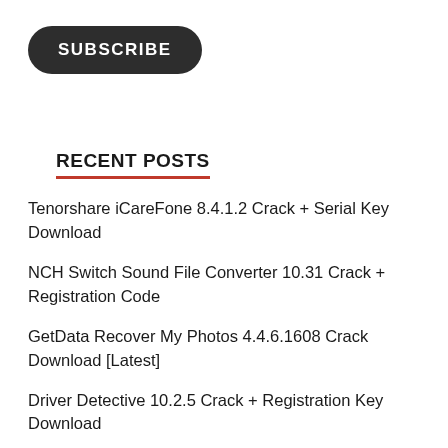[Figure (other): SUBSCRIBE button — dark rounded rectangle with white bold uppercase text]
RECENT POSTS
Tenorshare iCareFone 8.4.1.2 Crack + Serial Key Download
NCH Switch Sound File Converter 10.31 Crack + Registration Code
GetData Recover My Photos 4.4.6.1608 Crack Download [Latest]
Driver Detective 10.2.5 Crack + Registration Key Download
Beepa Fraps 3.6.0 Crack + Serial Key Full Version Download